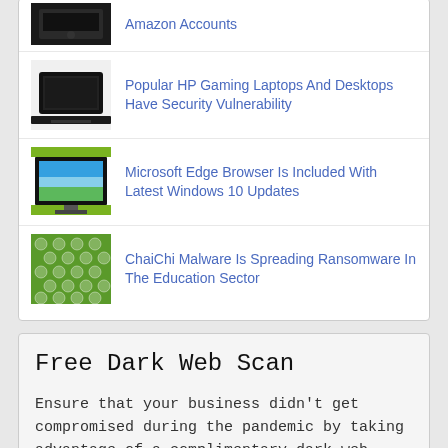Popular HP Gaming Laptops And Desktops Have Security Vulnerability
Microsoft Edge Browser Is Included With Latest Windows 10 Updates
ChaiChi Malware Is Spreading Ransomware In The Education Sector
Free Dark Web Scan
Ensure that your business didn't get compromised during the pandemic by taking advantage of a complimentary dark web scan!